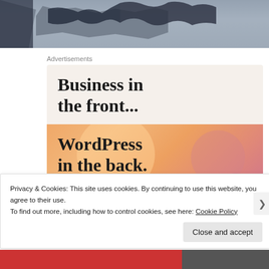[Figure (photo): Aerial or top-down photo showing dark rocky/icy terrain with blue-grey tones, partially cropped at top of page]
Advertisements
[Figure (illustration): Advertisement banner with two sections: top beige section reading 'Business in the front...' and bottom colorful gradient section with orange-pink circles reading 'WordPress in the back.']
Privacy & Cookies: This site uses cookies. By continuing to use this website, you agree to their use.
To find out more, including how to control cookies, see here: Cookie Policy